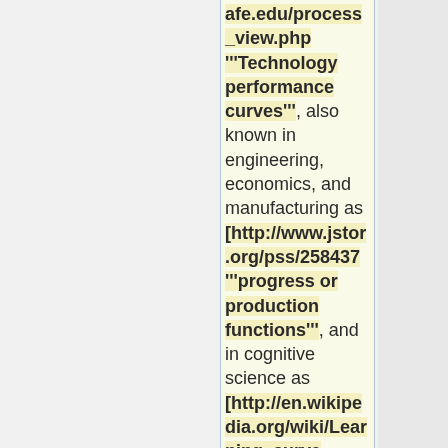afe.edu/process_view.php '''Technology performance curves'''], also known in engineering, economics, and manufacturing as [http://www.jstor.org/pss/258437 '''progress or production functions'''], and in cognitive science as [http://en.wikipedia.org/wiki/Learning_curve '''learning curves'''] or [http://en.wikipe